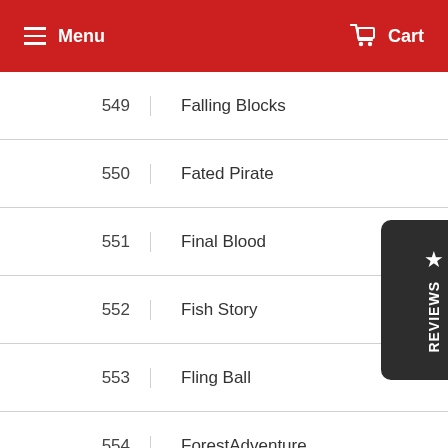Menu  Cart
549  Falling Blocks
550  Fated Pirate
551  Final Blood
552  Fish Story
553  Fling Ball
554  ForestAdventure
555  Fruit gift
556  Ghost Castle